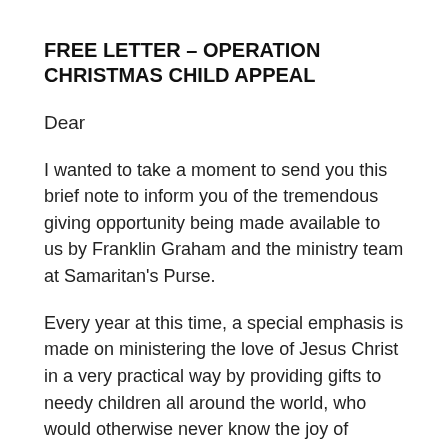FREE LETTER – OPERATION CHRISTMAS CHILD APPEAL
Dear
I wanted to take a moment to send you this brief note to inform you of the tremendous giving opportunity being made available to us by Franklin Graham and the ministry team at Samaritan's Purse.
Every year at this time, a special emphasis is made on ministering the love of Jesus Christ in a very practical way by providing gifts to needy children all around the world, who would otherwise never know the joy of receiving gifts at